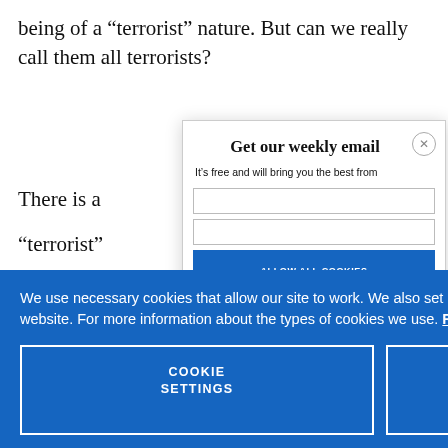being of a “terrorist” nature. But can we really call them all terrorists?
There is a “terrorist”
Get our weekly email
It’s free and will bring you the best from
We use necessary cookies that allow our site to work. We also set optional cookies that help us improve our website. For more information about the types of cookies we use. READ OUR COOKIES POLICY HERE
COOKIE SETTINGS
ALLOW ALL COOKIES
data.
took part